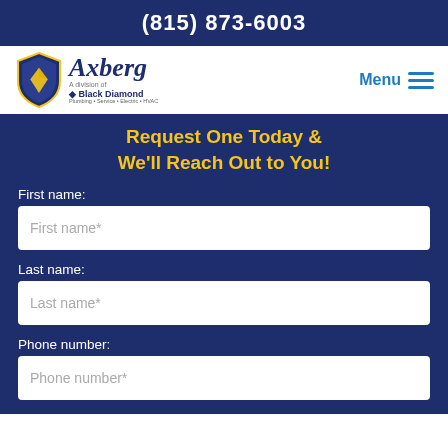(815) 873-6003
[Figure (logo): Axberg, A division of Black Diamond logo with shield icon]
Request One Today & We'll Reach Out to You!
First name:
First name*
Last name:
Last name*
Phone number:
Phone number*